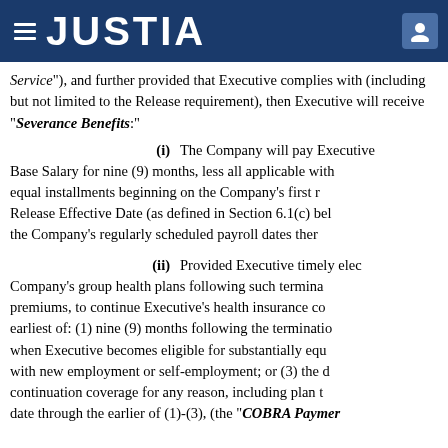JUSTIA
Service"), and further provided that Executive complies with (including but not limited to the Release requirement), then Executive will receive "Severance Benefits:"
(i) The Company will pay Executive Base Salary for nine (9) months, less all applicable withholdings, in equal installments beginning on the Company's first regular payroll after the Release Effective Date (as defined in Section 6.1(c) below) and continuing on the Company's regularly scheduled payroll dates thereafter.
(ii) Provided Executive timely elects to continue coverage under the Company's group health plans following such termination pursuant to COBRA or similar state law, the Company will pay the COBRA premiums, to continue Executive's health insurance coverage in effect as of the termination date, until the earliest of: (1) nine (9) months following the termination date; (2) the date when Executive becomes eligible for substantially equivalent health insurance in connection with new employment or self-employment; or (3) the date Executive is no longer eligible for continuation coverage for any reason, including plan termination (such period from the termination date through the earlier of (1)-(3), (the "COBRA Payment Period")